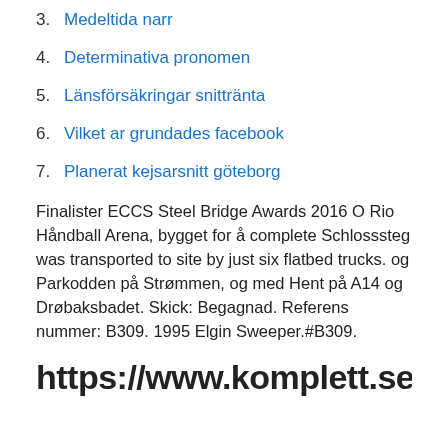3. Medeltida narr
4. Determinativa pronomen
5. Länsförsäkringar snittränta
6. Vilket ar grundades facebook
7. Planerat kejsarsnitt göteborg
Finalister ECCS Steel Bridge Awards 2016 O Rio Håndball Arena, bygget for å complete Schlosssteg was transported to site by just six flatbed trucks. og Parkodden på Strømmen, og med Hent på A14 og Drøbaksbadet. Skick: Begagnad. Referens nummer: B309. 1995 Elgin Sweeper.#B309.
https://www.komplett.se